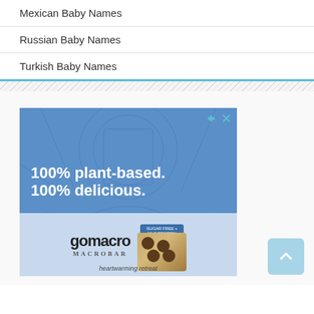Mexican Baby Names
Russian Baby Names
Turkish Baby Names
[Figure (illustration): Advertisement for GoMacro MacroBar with text '100% plant-based. 100% delicious.' on a blue illustrated background with a product bar image and gomacro logo. Tagline: heartwarming retreat.]